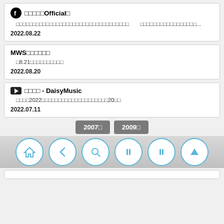Facebook Official
□□□□□□□□□□□□□□□□□□□□□□□□□□□□□□□□□□□□   □□□□□□□□□□□□□□□□□...
2022.08.22
MWS□□□□□□
　□8.21□□□□□□□□□□
2022.08.20
YouTube □□□□ - DaisyMusic
　□□□□2022□□□□□□□□□□□□□□□□□□□□20□□
2022.07.11
2007□  2009□
[Figure (screenshot): Navigation bar with 6 circular icons: home, back, search, pause, pause, up arrow]